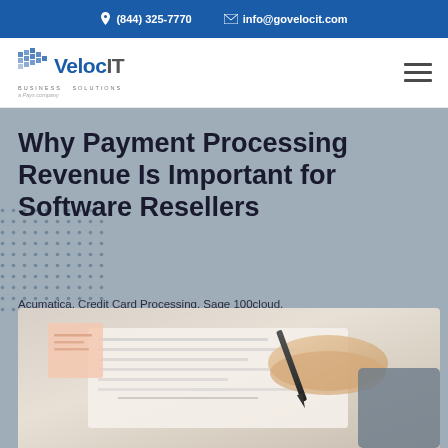(844) 325-7770  info@govelocit.com
[Figure (logo): VelocIT Business Solutions logo — a Pays company]
Why Payment Processing Revenue Is Important for Software Resellers
Acumatica, Credit Card Processing, Sage 100cloud, VelocIT Connect
[Figure (photo): Close-up photo of a person writing with a pen on paper, with a blurred background showing notes or documents]